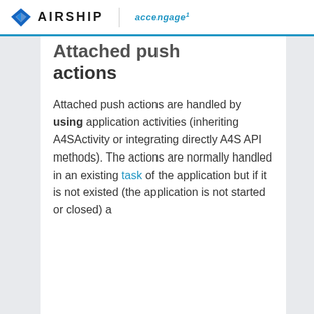AIRSHIP | accengage
Attached push actions
Attached push actions are handled by using application activities (inheriting A4SActivity or integrating directly A4S API methods). The actions are normally handled in an existing task of the application but if it is not existed (the application is not started or closed) a